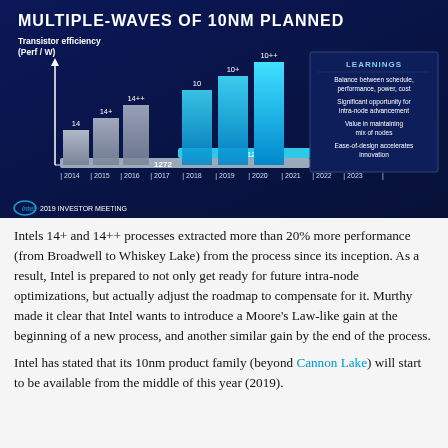[Figure (bar-chart): MULTIPLE-WAVES OF 10NM PLANNED]
Intels 14+ and 14++ processes extracted more than 20% more performance (from Broadwell to Whiskey Lake) from the process since its inception. As a result, Intel is prepared to not only get ready for future intra-node optimizations, but actually adjust the roadmap to compensate for it. Murthy made it clear that Intel wants to introduce a Moore's Law-like gain at the beginning of a new process, and another similar gain by the end of the process.
Intel has stated that its 10nm product family (beyond Cannon Lake) will start to be available from the middle of this year (2019).